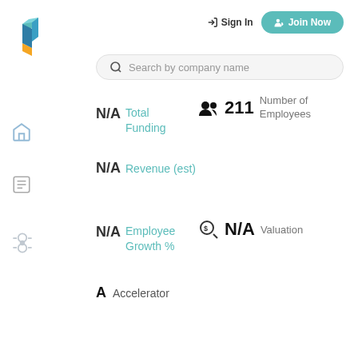[Figure (logo): Blue and orange isometric cube logo]
Sign In
Join Now
Search by company name
N/A   Total Funding
211   Number of Employees
N/A   Revenue (est)
N/A   Employee Growth %
N/A   Valuation
A   Accelerator